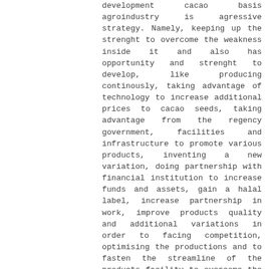development cacao basis agroindustry is agressive strategy. Namely, keeping up the strenght to overcome the weakness inside it and also has opportunity and strenght to develop, like producing continously, taking advantage of technology to increase additional prices to cacao seeds, taking advantage from the regency government, facilities and infrastructure to promote various products, inventing a new variation, doing partnership with financial institution to increase funds and assets, gain a halal label, increase partnership in work, improve products quality and additional variations in order to facing competition, optimising the productions and to fasten the streamline of the products facility to overcome the impact of raising funds for productions and also to obtain a product certrificated and agressively doing promotions in order to reach easiness of marketing and inviting investors.Â  Â  Â    Â  Keywords : Strategy, Agroindustry